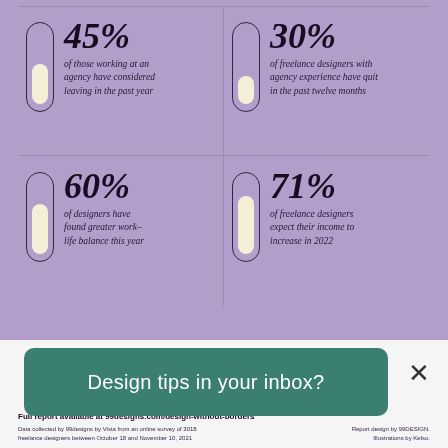[Figure (infographic): Four-panel infographic on purple background with pill/progress bar icons and statistics about freelance designers. Top-left: 45% of those working at an agency have considered leaving in the past year. Top-right: 30% of freelance designers with agency experience have quit in the past twelve months. Bottom-left: 60% of designers have found greater work-life balance this year. Bottom-right: 71% of freelance designers expect their income to increase in 2022.]
Full report available at 99designs.com/design-without-borders
Data collected by 99designs by Vista from an online survey of 3018 freelance designers between October 18 and November 10, 2021. Report design by 99DESIGN. Illustrations by Kelso.
Design tips in your inbox?